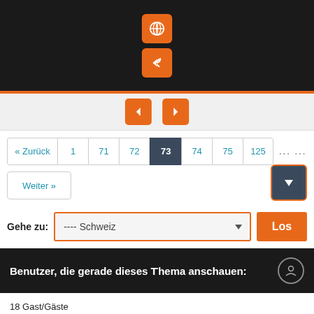[Figure (screenshot): Dark top bar with two orange icon buttons (globe and back arrow)]
[Figure (screenshot): Light nav bar with two orange left/right arrow buttons]
[Figure (screenshot): Pagination controls: Zurück, 1, 71, 72, 73 (active), 74, 75, 125, ellipsis, Weiter, and a dark download button]
[Figure (screenshot): Goto section with label Gehe zu, dropdown showing ---- Schweiz, and orange Los button]
Benutzer, die gerade dieses Thema anschauen:
18 Gast/Gäste